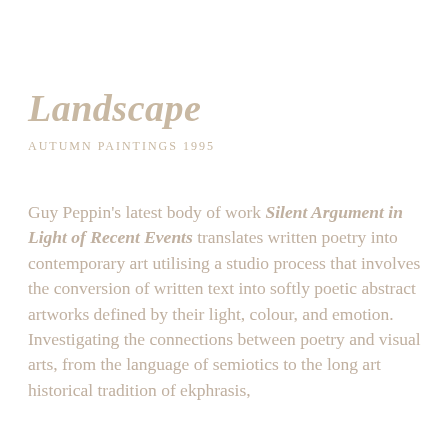Landscape
AUTUMN PAINTINGS 1995
Guy Peppin's latest body of work Silent Argument in Light of Recent Events translates written poetry into contemporary art utilising a studio process that involves the conversion of written text into softly poetic abstract artworks defined by their light, colour, and emotion. Investigating the connections between poetry and visual arts, from the language of semiotics to the long art historical tradition of ekphrasis,